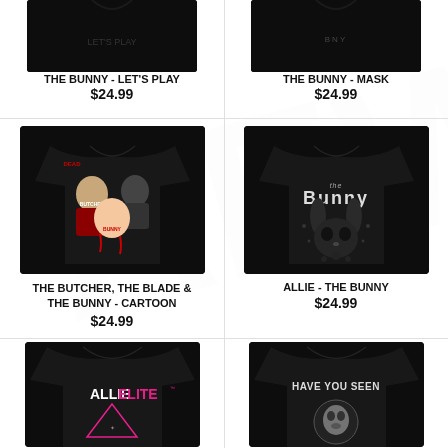[Figure (photo): Black t-shirt top portion cropped, THE BUNNY - LET'S PLAY]
THE BUNNY - LET'S PLAY
$24.99
[Figure (photo): Black t-shirt top portion cropped, THE BUNNY - MASK]
THE BUNNY - MASK
$24.99
[Figure (photo): Black t-shirt with cartoon graphic of The Butcher, The Blade & The Bunny]
THE BUTCHER, THE BLADE & THE BUNNY - CARTOON
$24.99
[Figure (photo): Black t-shirt with The Bunny text and rabbit skull graphic]
ALLIE - THE BUNNY
$24.99
[Figure (photo): Black t-shirt with ALLIELITE text, bottom cropped]
[Figure (photo): Black t-shirt with HAVE YOU SEEN text, bottom cropped]